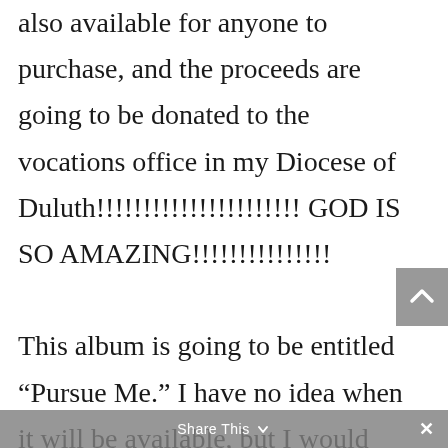also available for anyone to purchase, and the proceeds are going to be donated to the vocations office in my Diocese of Duluth!!!!!!!!!!!!!!!!!!!!!! GOD IS SO AMAZING!!!!!!!!!!!!!!!
This album is going to be entitled “Pursue Me.” I have no idea when it will be available, but I would imagine it would probably not be until the late fall/winter of 2007.